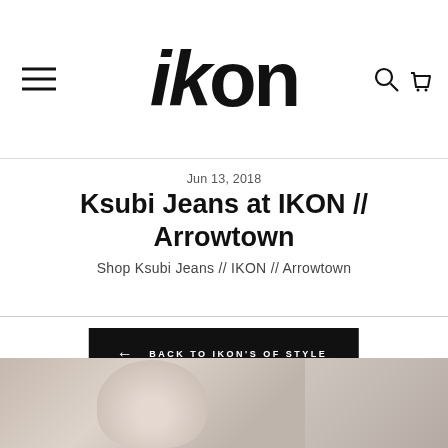IKON
Jun 13, 2018
Ksubi Jeans at IKON // Arrowtown
Shop Ksubi Jeans // IKON // Arrowtown
[Figure (other): Black button with left arrow and text: BACK TO IKON'S OF STYLE]
[Figure (photo): Bottom portion showing fashion/lifestyle imagery with muted beige tones, partial view of a person wearing a hat]